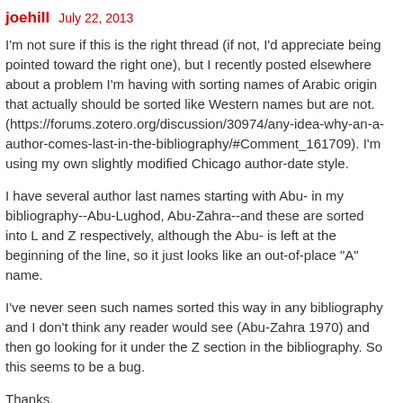joehill   July 22, 2013
I'm not sure if this is the right thread (if not, I'd appreciate being pointed toward the right one), but I recently posted elsewhere about a problem I'm having with sorting names of Arabic origin that actually should be sorted like Western names but are not. (https://forums.zotero.org/discussion/30974/any-idea-why-an-a-author-comes-last-in-the-bibliography/#Comment_161709). I'm using my own slightly modified Chicago author-date style.
I have several author last names starting with Abu- in my bibliography--Abu-Lughod, Abu-Zahra--and these are sorted into L and Z respectively, although the Abu- is left at the beginning of the line, so it just looks like an out-of-place "A" name.
I've never seen such names sorted this way in any bibliography and I don't think any reader would see (Abu-Zahra 1970) and then go looking for it under the Z section in the bibliography. So this seems to be a bug.
Thanks,